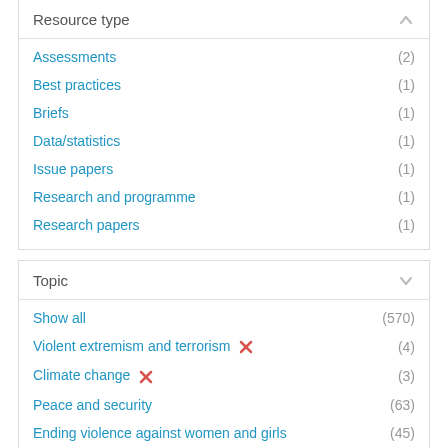Resource type
Assessments (2)
Best practices (1)
Briefs (1)
Data/statistics (1)
Issue papers (1)
Research and programme (1)
Research papers (1)
Topic
Show all (570)
Violent extremism and terrorism (4)
Climate change (3)
Peace and security (63)
Ending violence against women and girls (45)
Economic empowerment (41)
Gender equality and women's empowerment (41)